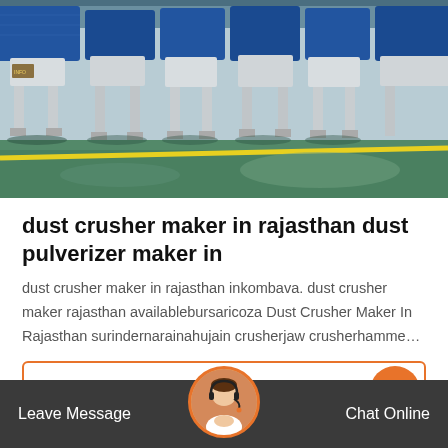[Figure (photo): Factory floor showing industrial machinery — blue vibrating screens/separators mounted on white metal frames, green painted floor with yellow safety line, industrial ceiling structure visible]
dust crusher maker in rajasthan dust pulverizer maker in
dust crusher maker in rajasthan inkombava. dust crusher maker rajasthan availablebursaricoza Dust Crusher Maker In Rajasthan surindernarainahujain crusherjaw crusherhamme…
Get Price
Leave Message   Chat Online